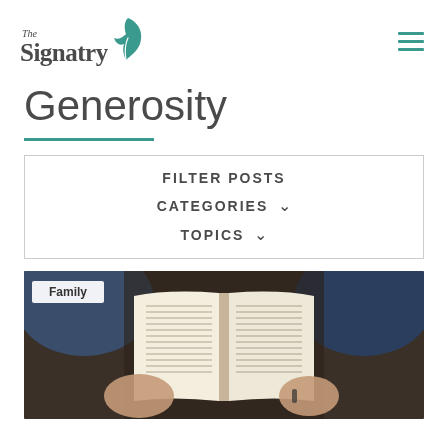[Figure (logo): The Signatry logo with teal feather/quill icon and serif text]
Generosity
FILTER POSTS
CATEGORIES ∨
TOPICS ∨
[Figure (photo): Person reading an open Bible/book from overhead view, wearing jeans, with a 'Family' category tag overlay]